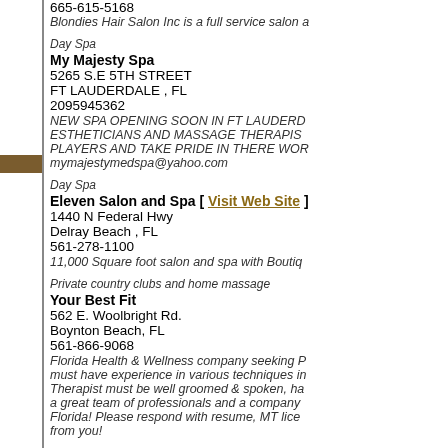665-615-5168
Blondies Hair Salon Inc is a full service salon a
Day Spa
My Majesty Spa
5265 S.E 5TH STREET
FT LAUDERDALE , FL
2095945362
NEW SPA OPENING SOON IN FT LAUDERD... ESTHETICIANS AND MASSAGE THERAPIS... PLAYERS AND TAKE PRIDE IN THERE WOR...
mymajestymedspa@yahoo.com
Day Spa
Eleven Salon and Spa [ Visit Web Site ]
1440 N Federal Hwy
Delray Beach , FL
561-278-1100
11,000 Square foot salon and spa with Boutiq...
Private country clubs and home massage
Your Best Fit
562 E. Woolbright Rd.
Boynton Beach, FL
561-866-9068
Florida Health & Wellness company seeking R... must have experience in various techniques in... Therapist must be well groomed & spoken, ha... a great team of professionals and a company... Florida! Please respond with resume, MT lice... from you!
Massage Center
Spacibo Therapeutic Massage [ Visit W...